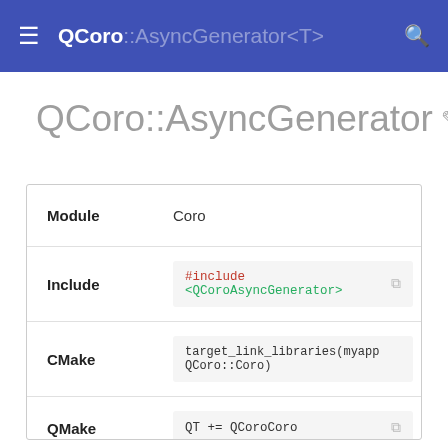QCoro   QCoro::AsyncGenerator<T>
QCoro::AsyncGenerator
| Field | Value |
| --- | --- |
| Module | Coro |
| Include | #include <QCoroAsyncGenerator> |
| CMake | target_link_libraries(myapp QCoro::Coro) |
| QMake | QT += QCoroCoro |